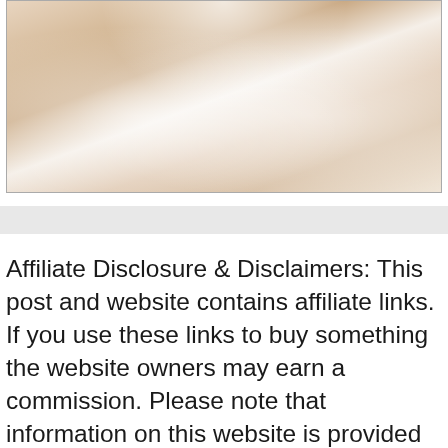[Figure (photo): Close-up photo of a person wearing a white lace bra]
Affiliate Disclosure & Disclaimers: This post and website contains affiliate links. If you use these links to buy something the website owners may earn a commission. Please note that information on this website is provided solely for entertainment purpose on “as is” basis. This website does not condone the use of illegal drugs or substances and we do not encourage the use of illegal substances at all. Visitors should understand and agree our reviews or products should not be used for